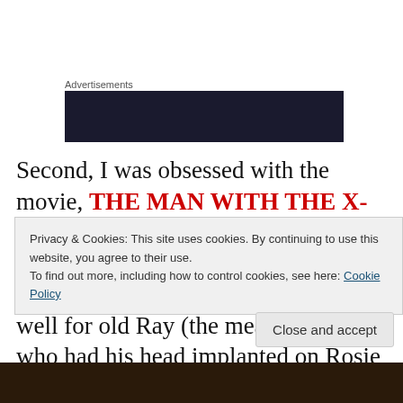Advertisements
[Figure (other): Dark advertisement banner block]
Second, I was obsessed with the movie, THE MAN WITH THE X-RAY EYES, starring Ray Milland and directed by the legend himself, Roger Corman. I knew things didn't turn out well for old Ray (the mean bastard who had his head implanted on Rosie Greer's body in The Thing With Two Heads), but I would learn from his mistakes.
Privacy & Cookies: This site uses cookies. By continuing to use this website, you agree to their use.
To find out more, including how to control cookies, see here: Cookie Policy
Close and accept
[Figure (photo): Dark photo strip at bottom of page]